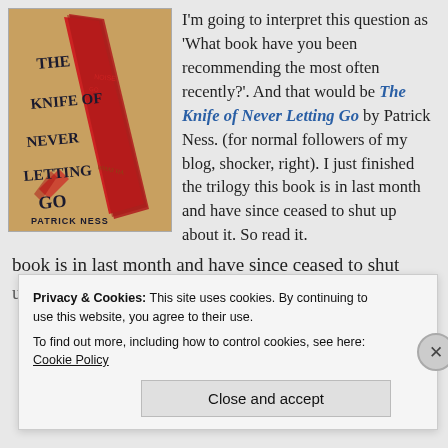[Figure (illustration): Book cover of 'The Knife of Never Letting Go' by Patrick Ness. Tan/golden background with a large red knife shape and handwritten-style text.]
I'm going to interpret this question as 'What book have you been recommending the most often recently?'. And that would be The Knife of Never Letting Go by Patrick Ness. (for normal followers of my blog, shocker, right). I just finished the trilogy this book is in last month and have since ceased to shut up about it. So read it.
Privacy & Cookies: This site uses cookies. By continuing to use this website, you agree to their use.
To find out more, including how to control cookies, see here: Cookie Policy